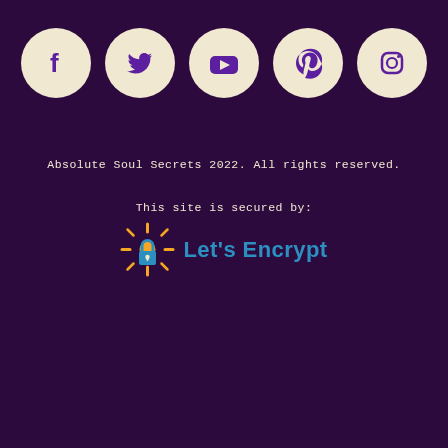[Figure (infographic): Five social media icon circles (Facebook, Twitter, YouTube, Pinterest, Instagram) on dark purple background]
Absolute Soul Secrets 2022. All rights reserved.
This site is secured by:
[Figure (logo): Let's Encrypt logo with sun/lock icon in orange/yellow and blue, text in blue]